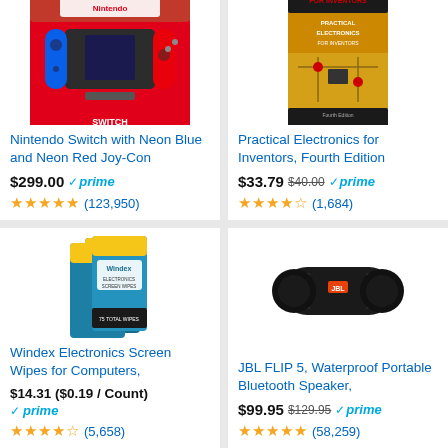[Figure (photo): Nintendo Switch console box with Neon Blue and Neon Red Joy-Con controllers]
Nintendo Switch with Neon Blue and Neon Red Joy-Con
$299.00 prime (123,950)
[Figure (photo): Practical Electronics for Inventors, Fourth Edition book cover]
Practical Electronics for Inventors, Fourth Edition
$33.79 $40.00 prime (1,684)
[Figure (photo): Windex Electronics Screen Wipes multi-pack]
Windex Electronics Screen Wipes for Computers,
$14.31 ($0.19 / Count) prime (5,658)
[Figure (photo): JBL FLIP 5 black portable Bluetooth speaker]
JBL FLIP 5, Waterproof Portable Bluetooth Speaker,
$99.95 $129.95 prime (58,259)